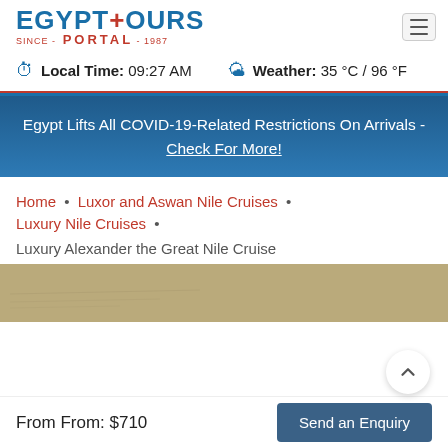EGYPTOURS PORTAL SINCE 1987
Local Time: 09:27 AM   Weather: 35 °C / 96 °F
Egypt Lifts All COVID-19-Related Restrictions On Arrivals - Check For More!
Home • Luxor and Aswan Nile Cruises • Luxury Nile Cruises • Luxury Alexander the Great Nile Cruise
[Figure (photo): Partial view of a sandy/desert-toned background image strip for the Luxury Alexander the Great Nile Cruise page]
From From: $710
Send an Enquiry